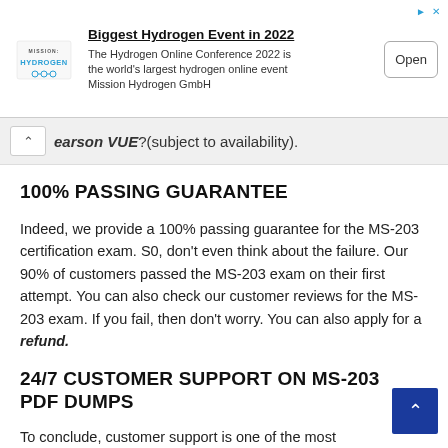[Figure (screenshot): Advertisement banner for Mission Hydrogen GmbH promoting 'Biggest Hydrogen Event in 2022' - The Hydrogen Online Conference 2022 with an Open button]
earson VUE?(subject to availability).
100% PASSING GUARANTEE
Indeed, we provide a 100% passing guarantee for the MS-203 certification exam. S0, don't even think about the failure. Our 90% of customers passed the MS-203 exam on their first attempt. You can also check our customer reviews for the MS-203 exam. If you fail, then don't worry. You can also apply for a refund.
24/7 CUSTOMER SUPPORT ON MS-203 PDF DUMPS
To conclude, customer support is one of the most